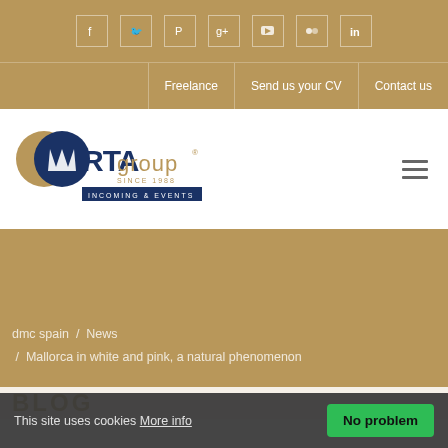Social media icons: Facebook, Twitter, Pinterest, Google+, YouTube, Flickr, LinkedIn
Freelance / Send us your CV / Contact us
[Figure (logo): RTA Group logo - Incoming & Events, Since 1988]
dmc spain / News / Mallorca in white and pink, a natural phenomenon
BLOG
This site uses cookies More info  No problem